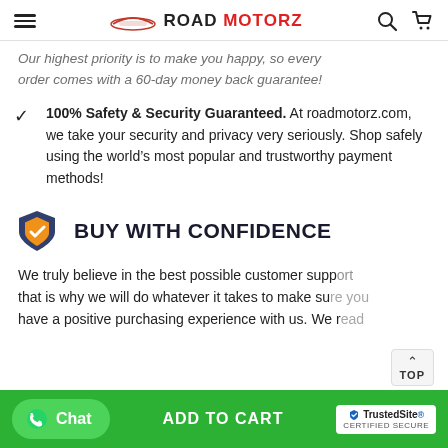Road Motorz
Our highest priority is to make you happy, so every order comes with a 60-day money back guarantee!
100% Safety & Security Guaranteed. At roadmotorz.com, we take your security and privacy very seriously. Shop safely using the world’s most popular and trustworthy payment methods!
BUY WITH CONFIDENCE
We truly believe in the best possible customer support, that is why we will do whatever it takes to make sure you have a positive purchasing experience with us. We r...d